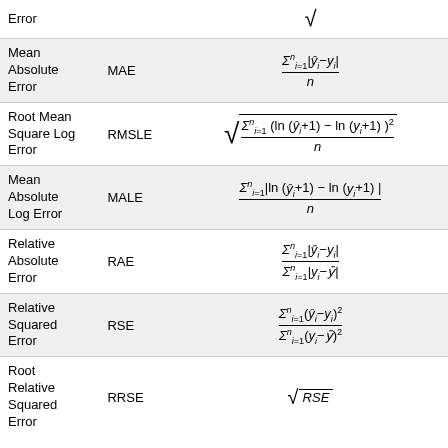| Name | Abbreviation | Formula |
| --- | --- | --- |
| Error (partial) |  | √ |
| Mean Absolute Error | MAE | Σ(i=1 to n)|ŷ_i − y_i| / n |
| Root Mean Square Log Error | RMSLE | √(Σ(i=1 to n)(ln(ŷ_i+1)−ln(y_i+1))² / n) |
| Mean Absolute Log Error | MALE | Σ(i=1 to n)|ln(ŷ_i+1)−ln(y_i+1)| / n |
| Relative Absolute Error | RAE | Σ(i=1 to n)|ŷ_i−y_i| / Σ(i=1 to n)|y_i−ȳ| |
| Relative Squared Error | RSE | Σ(i=1 to n)(ŷ_i−y_i)² / Σ(i=1 to n)(y_i−ȳ)² |
| Root Relative Squared Error | RRSE | √RSE |